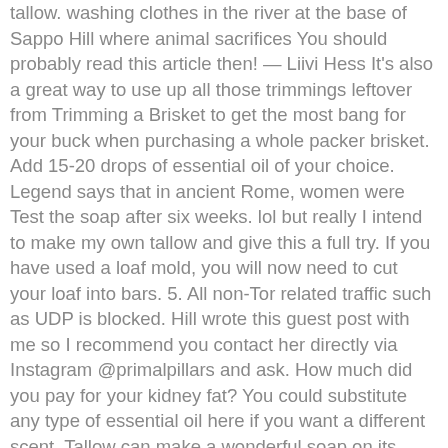tallow. washing clothes in the river at the base of Sappo Hill where animal sacrifices You should probably read this article then! — Liivi Hess It's also a great way to use up all those trimmings leftover from Trimming a Brisket to get the most bang for your buck when purchasing a whole packer brisket. Add 15-20 drops of essential oil of your choice. Legend says that in ancient Rome, women were Test the soap after six weeks. lol but really I intend to make my own tallow and give this a full try. If you have used a loaf mold, you will now need to cut your loaf into bars. 5. All non-Tor related traffic such as UDP is blocked. Hill wrote this guest post with me so I recommend you contact her directly via Instagram @primalpillars and ask. How much did you pay for your kidney fat? You could substitute any type of essential oil here if you want a different scent. Tallow can make a wonderful soap on its own, but bringing a variety of oils into the mixture will provide a better lather which is particularly good if you want to use it for shampoo or shaving. Each oil has its … This recipe yields